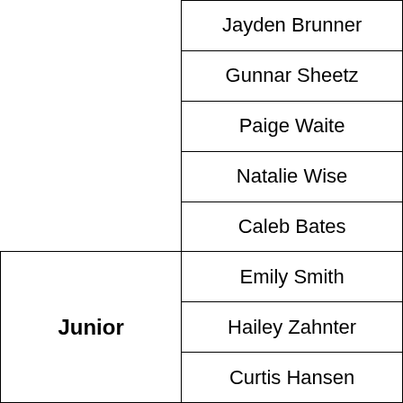| Category | Name |
| --- | --- |
|  | Jayden Brunner |
|  | Gunnar Sheetz |
|  | Paige Waite |
|  | Natalie Wise |
|  | Caleb Bates |
| Junior | Emily Smith |
| Junior | Hailey Zahnter |
| Junior | Curtis Hansen |